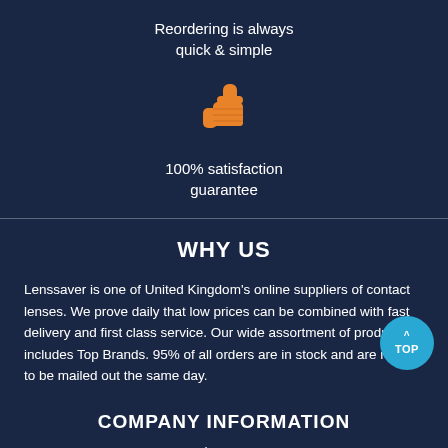Reordering is always quick & simple
[Figure (illustration): Orange thumbs up emoji icon]
100% satisfaction guarantee
WHY US
Lenssaver is one of United Kingdom's online suppliers of contact lenses. We prove daily that low prices can be combined with fast delivery and first class service. Our wide assortment of products includes Top Brands. 95% of all orders are in stock and are ready to be mailed out the same day.
COMPANY INFORMATION
About Us